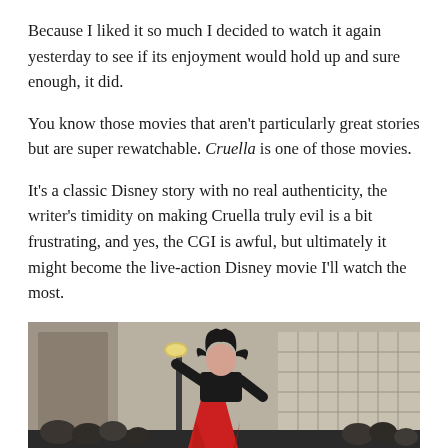Because I liked it so much I decided to watch it again yesterday to see if its enjoyment would hold up and sure enough, it did.
You know those movies that aren't particularly great stories but are super rewatchable. Cruella is one of those movies.
It's a classic Disney story with no real authenticity, the writer's timidity on making Cruella truly evil is a bit frustrating, and yes, the CGI is awful, but ultimately it might become the live-action Disney movie I'll watch the most.
[Figure (photo): A woman in a dramatic black and red costume with wild dark hair poses with arms raised in a street setting, surrounded by a crowd of onlookers and photographers, in front of a large classical building facade.]